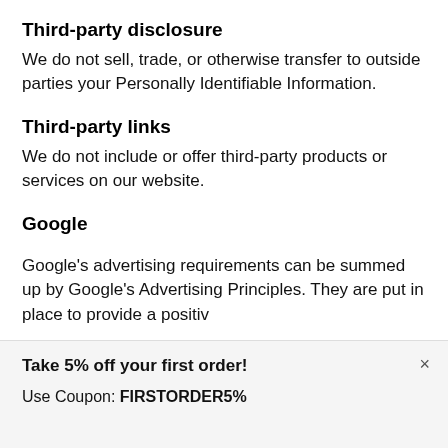Third-party disclosure
We do not sell, trade, or otherwise transfer to outside parties your Personally Identifiable Information.
Third-party links
We do not include or offer third-party products or services on our website.
Google
Google's advertising requirements can be summed up by Google's Advertising Principles. They are put in place to provide a positive
Take 5% off your first order!
Use Coupon: FIRSTORDER5%